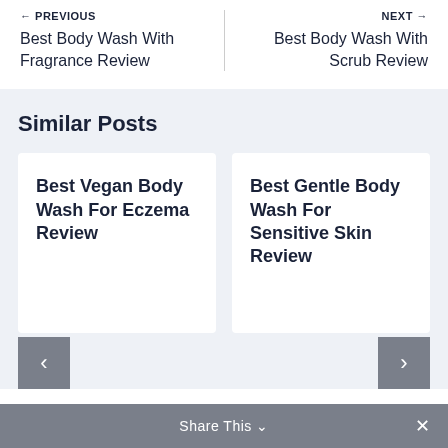← PREVIOUS
Best Body Wash With Fragrance Review
NEXT →
Best Body Wash With Scrub Review
Similar Posts
Best Vegan Body Wash For Eczema Review
Best Gentle Body Wash For Sensitive Skin Review
Share This